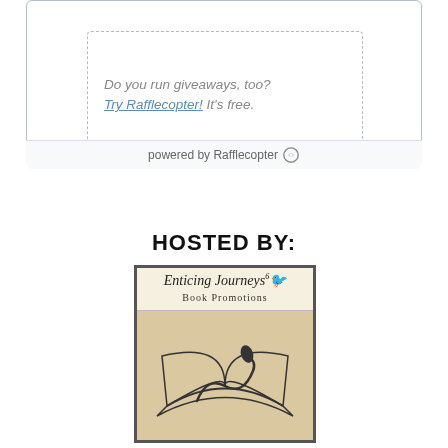Do you run giveaways, too? Try Rafflecopter! It's free.
powered by Rafflecopter
HOSTED BY:
[Figure (logo): Enticing Journeys Book Promotions logo: cream/tan background with script text banner and an open book illustration with a ribbon/snake design]